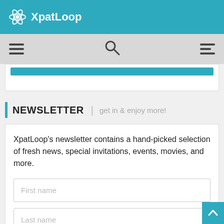[Figure (logo): XpatLoop logo with atom icon on teal background header bar]
[Figure (screenshot): Navigation bar with hamburger menu left, search icon center, staggered menu icon right on grey background]
[Figure (screenshot): Partial teal button strip inside a white card]
NEWSLETTER | get in & enjoy more!
XpatLoop's newsletter contains a hand-picked selection of fresh news, special invitations, events, movies, and more.
First name
Last name
Email address